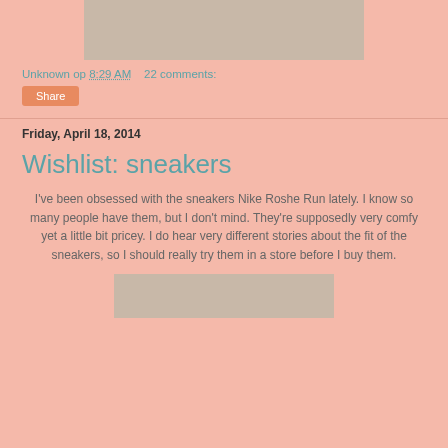[Figure (photo): Bottom portion of a person standing in black heels on stone pavement outdoors]
Unknown op 8:29 AM    22 comments:
Share
Friday, April 18, 2014
Wishlist: sneakers
I've been obsessed with the sneakers Nike Roshe Run lately. I know so many people have them, but I don't mind. They're supposedly very comfy yet a little bit pricey. I do hear very different stories about the fit of the sneakers, so I should really try them in a store before I buy them.
[Figure (photo): Partial image of sneakers at the bottom of the page]